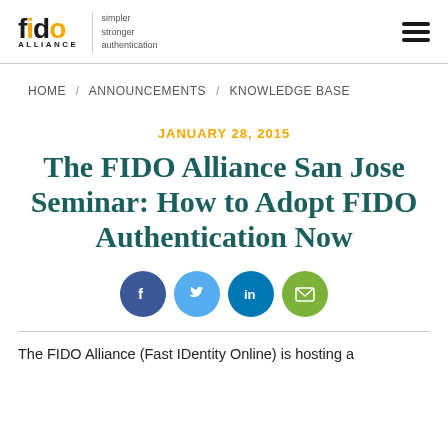FIDO Alliance — simpler stronger authentication
HOME / ANNOUNCEMENTS / KNOWLEDGE BASE
JANUARY 28, 2015
The FIDO Alliance San Jose Seminar: How to Adopt FIDO Authentication Now
[Figure (infographic): Social share icons: Facebook, Twitter, LinkedIn, Email]
The FIDO Alliance (Fast IDentity Online) is hosting a